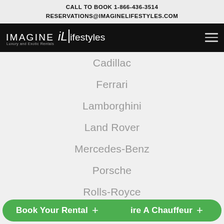CALL TO BOOK 1-866-436-3514
RESERVATIONS@IMAGINELIFESTYLES.COM
[Figure (logo): Imagine Lifestyles logo — white text on black background with hamburger menu icon]
Cadillac
Ferrari
Lamborghini
Land Rover
Mercedes-Benz
Porsche
Rolls-Royce
SERVICES
Book Your Rental +   Hire A Chauffeur +